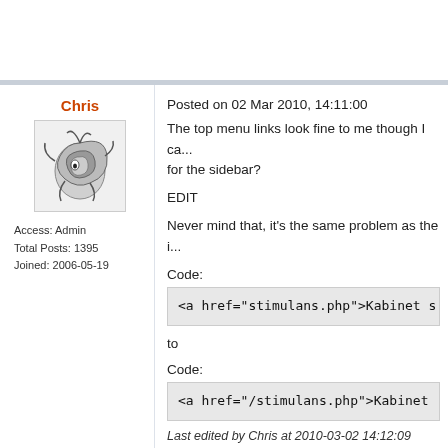Chris
[Figure (illustration): User avatar: black and white swirling dragon/creature illustration]
Access: Admin
Total Posts: 1395
Joined: 2006-05-19
Posted on 02 Mar 2010, 14:11:00
The top menu links look fine to me though I ca... for the sidebar?
EDIT
Never mind that, it's the same problem as the i...
Code:
<a href="stimulans.php">Kabinet s
to
Code:
<a href="/stimulans.php">Kabinet
Last edited by Chris at 2010-03-02 14:12:09 Re...
Hhawk
Posted on 02 Mar 2010, 14:16:29
Thanks for the reply, I figured it out as well. ;)